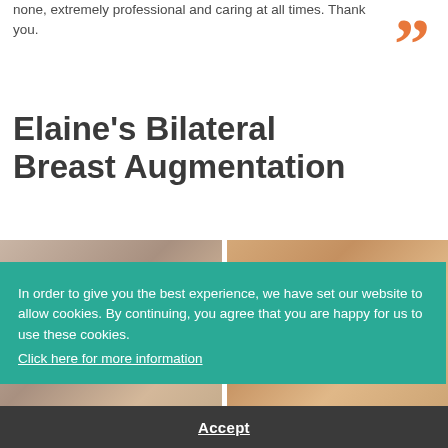none, extremely professional and caring at all times. Thank you.
[Figure (illustration): Large orange closing double quotation mark decorative symbol]
Elaine's Bilateral Breast Augmentation
[Figure (photo): Two side-by-side before/after photos of a breast augmentation patient (Elaine), partially obscured by a cookie consent banner]
In order to give you the best experience, we have set our website to allow cookies. By continuing, you agree that you are happy for us to use these cookies. Click here for more information
Accept